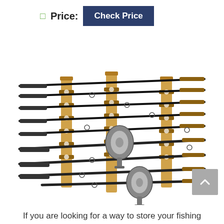Price: Check Price
[Figure (photo): A wooden wall-mounted fishing rod rack holding multiple fishing rods with spinning reels. The rack has two vertical wooden supports with notched slots holding approximately 9 rods arranged in parallel.]
If you are looking for a way to store your fishing